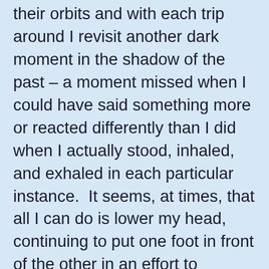their orbits and with each trip around I revisit another dark moment in the shadow of the past – a moment missed when I could have said something more or reacted differently than I did when I actually stood, inhaled, and exhaled in each particular instance.  It seems, at times, that all I can do is lower my head, continuing to put one foot in front of the other in an effort to increase the distance between the past and the present and, in doing so, relieve the weight of this burden. But, the truth, I'm finding, is that, there is nothing I can do to pick up any of the foot prints I've left in the path behind me and, while it betrays the weight of the emotion coursing through me as I type now, I know that my faith is invested in the One who is not